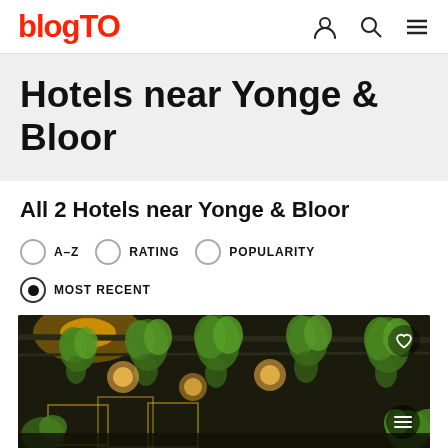blogTO
Hotels near Yonge & Bloor
All 2 Hotels near Yonge & Bloor
A-Z
RATING
POPULARITY
MOST RECENT
[Figure (photo): Interior photo of a hotel or restaurant with hanging green plants and warm lighting]